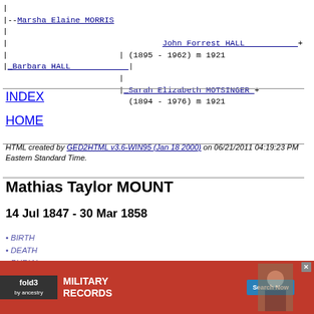| --Marsha Elaine MORRIS
| John Forrest HALL + (1895 - 1962) m 1921
| Barbara HALL |
| Sarah Elizabeth MOTSINGER + (1894 - 1976) m 1921
INDEX
HOME
HTML created by GED2HTML v3.6-WIN95 (Jan 18 2000) on 06/21/2011 04:19:23 PM Eastern Standard Time.
Mathias Taylor MOUNT
14 Jul 1847 - 30 Mar 1858
BIRTH
DEATH
BURIAL